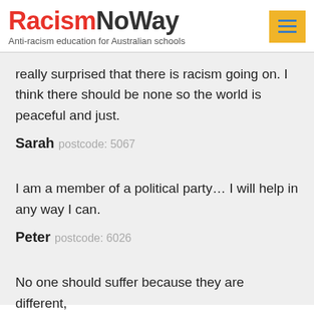RacismNoWay — Anti-racism education for Australian schools
really surprised that there is racism going on. I think there should be none so the world is peaceful and just.
Sarah postcode: 5067
I am a member of a political party… I will help in any way I can.
Peter postcode: 6026
No one should suffer because they are different,